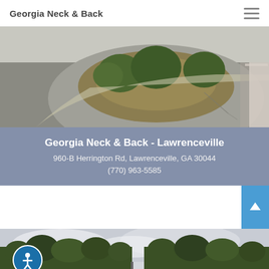Georgia Neck & Back
[Figure (photo): Aerial view of a parking lot with curved driveway, trees and landscaping in the center island, asphalt pavement visible]
Georgia Neck & Back - Lawrenceville
960-B Herrington Rd, Lawrenceville, GA 30044
(770) 963-5585
[Figure (photo): Street-level photo of a commercial strip mall with trees and storefront signs, split into two panels]